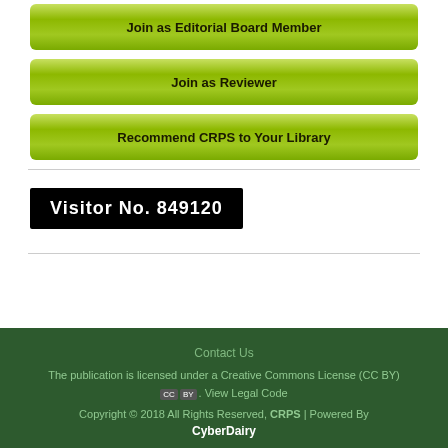Join as Editorial Board Member
Join as Reviewer
Recommend CRPS to Your Library
Visitor No. 849120
Contact Us
The publication is licensed under a Creative Commons License (CC BY). View Legal Code
Copyright © 2018 All Rights Reserved, CRPS | Powered By CyberDairy